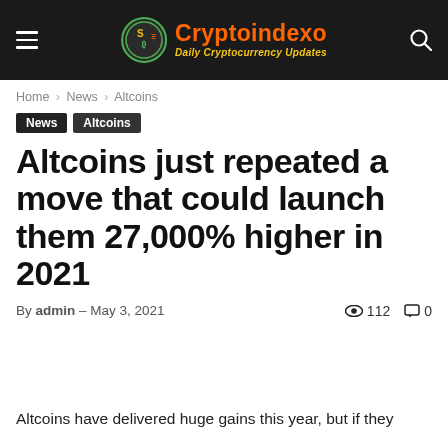Cryptoindexo — Daily Cryptocurrency Updates
Home › News › Altcoins
News
Altcoins
Altcoins just repeated a move that could launch them 27,000% higher in 2021
By admin – May 3, 2021   👁 112   💬 0
Altcoins have delivered huge gains this year, but if they